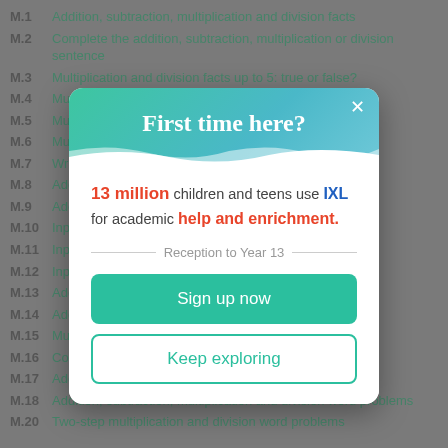M.1 Addition, subtraction, multiplication and division facts
M.2 Complete the addition, subtraction, multiplication or division sentence
M.3 Multiplication and division facts up to 5: true or false?
M.4 Multiplicati...
M.5 Multiplic...
M.6 Multiplic... se?
M.7 Write nu...
M.8 Add, su...
M.9 Add, su...
M.10 Input/o...
M.11 Input/o...
M.12 Input/o...
M.13 Add ar...
M.14 Additio...
M.15 Multip...
M.16 Comp...
M.17 Addition, subtraction and multiplication word problems
M.18 Addition, subtraction, multiplication and division word problems
M.20 Two-step multiplication and division word problems
[Figure (screenshot): Modal popup dialog: 'First time here?' with text '13 million children and teens use IXL for academic help and enrichment.' Reception to Year 13. Sign up now button and Keep exploring button.]